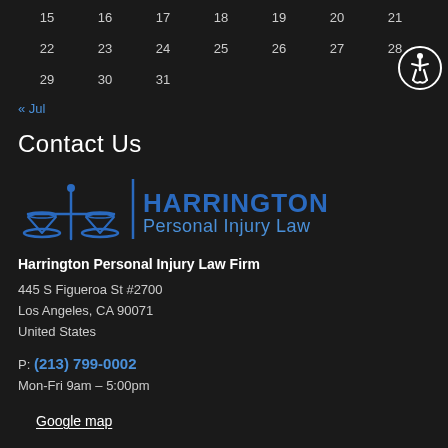| 15 | 16 | 17 | 18 | 19 | 20 | 21 |
| 22 | 23 | 24 | 25 | 26 | 27 | 28 |
| 29 | 30 | 31 |  |  |  |  |
« Jul
Contact Us
[Figure (logo): Harrington Personal Injury Law logo with scales of justice icon and text]
Harrington Personal Injury Law Firm
445 S Figueroa St #2700
Los Angeles, CA 90071
United States
P: (213) 799-0002
Mon-Fri 9am – 5:00pm
Google map